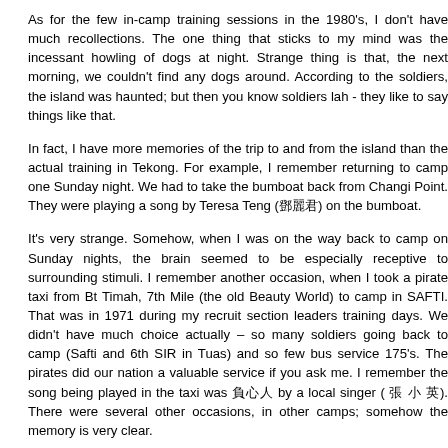As for the few in-camp training sessions in the 1980's, I don't have much recollections. The one thing that sticks to my mind was the incessant howling of dogs at night. Strange thing is that, the next morning, we couldn't find any dogs around. According to the soldiers, the island was haunted; but then you know soldiers lah - they like to say things like that.
In fact, I have more memories of the trip to and from the island than the actual training in Tekong. For example, I remember returning to camp one Sunday night. We had to take the bumboat back from Changi Point. They were playing a song by Teresa Teng (鄧麗君) on the bumboat.
It's very strange. Somehow, when I was on the way back to camp on Sunday nights, the brain seemed to be especially receptive to surrounding stimuli. I remember another occasion, when I took a pirate taxi from Bt Timah, 7th Mile (the old Beauty World) to camp in SAFTI. That was in 1971 during my recruit section leaders training days. We didn't have much choice actually – so many soldiers going back to camp (Safti and 6th SIR in Tuas) and so few bus service 175's. The pirates did our nation a valuable service if you ask me. I remember the song being played in the taxi was 負心人 by a local singer ( 张 小 英). There were several other occasions, in other camps; somehow the memory is very clear.
But nothing really beats the feeling of seeing the lights of SAFTI appear as the bus rounds the bend on old Jurong Road. Your heart simply sinks to the floor. Green Bus number 175.